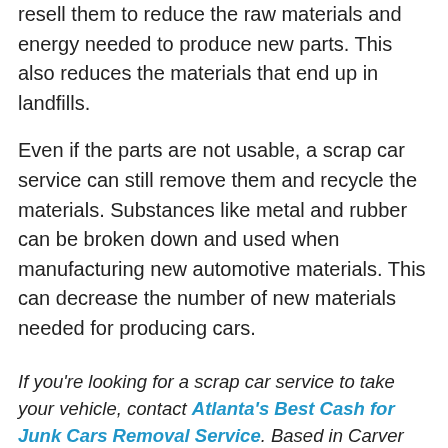resell them to reduce the raw materials and energy needed to produce new parts. This also reduces the materials that end up in landfills.
Even if the parts are not usable, a scrap car service can still remove them and recycle the materials. Substances like metal and rubber can be broken down and used when manufacturing new automotive materials. This can decrease the number of new materials needed for producing cars.
If you're looking for a scrap car service to take your vehicle, contact Atlanta's Best Cash for Junk Cars Removal Service. Based in Carver Hills, GA, the service will come to your location and pick up your junk cars. They offer fast cash